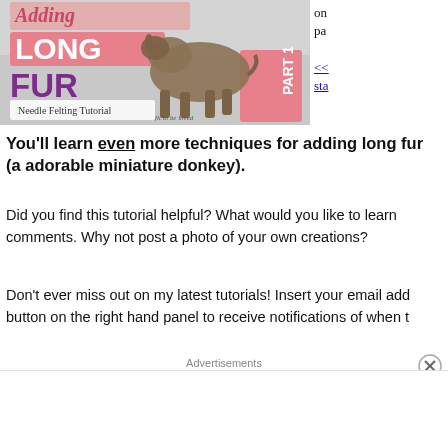[Figure (illustration): Needle felting tutorial thumbnail image showing a miniature felted donkey with text 'Adding Long Fur', 'LONG FUR', 'Needle Felting Tutorial', 'PART 1' on a pink/gray background]
on pa <<  sta
You'll learn even more techniques for adding long fur (a adorable miniature donkey).
Did you find this tutorial helpful? What would you like to learn comments. Why not post a photo of your own creations?
Don't ever miss out on my latest tutorials! Insert your email add button on the right hand panel to receive notifications of when t
Advertisements
[Figure (screenshot): Advertisement banner: WordPress hosting ad with dark navy background, P icon, text 'WORDPRESS HOSTING THAT MEANS BUSINESS.' and an OPEN sign image on right]